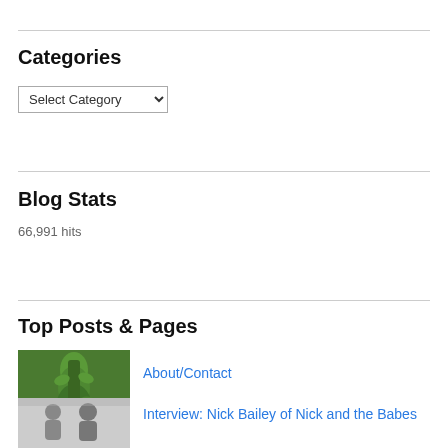Categories
Select Category
Blog Stats
66,991 hits
Top Posts & Pages
[Figure (photo): Thumbnail photo of a tall green plant/flower spike]
About/Contact
[Figure (photo): Black and white thumbnail photo of two people]
Interview: Nick Bailey of Nick and the Babes